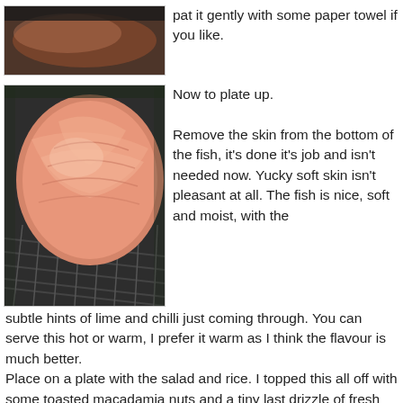[Figure (photo): Close-up photo of raw salmon fillet or meat on a dark background, partially shown at top of page]
pat it gently with some paper towel if you like.
[Figure (photo): Photo of a cooked salmon fillet on a wire cooling rack, showing pink flesh with natural markings]
Now to plate up.

Remove the skin from the bottom of the fish, it's done it's job and isn't needed now. Yucky soft skin isn't pleasant at all. The fish is nice, soft and moist, with the subtle hints of lime and chilli just coming through. You can serve this hot or warm, I prefer it warm as I think the flavour is much better.
Place on a plate with the salad and rice. I topped this all off with some toasted macadamia nuts and a tiny last drizzle of fresh macadamia oil.